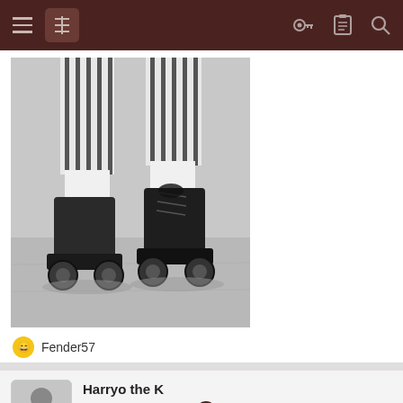Navigation bar with hamburger menu, logo, key icon, list icon, and search icon
[Figure (photo): Black and white vintage photograph showing close-up of two feet wearing roller skates (quad skates) with striped pants/socks visible, on a pavement surface]
Fender57
Harryo the K
Well-Known Member
Mar 25, 2022